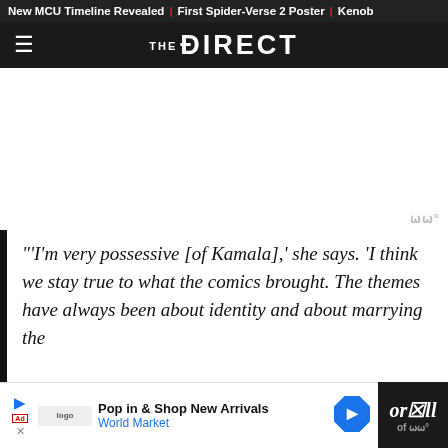New MCU Timeline Revealed | First Spider-Verse 2 Poster | Kenob
THE DIRECT
[Figure (other): White advertisement space placeholder]
'"I'm very possessive [of Kamala],' she says. 'I think we stay true to what the comics brought. The themes have always been about identity and about marrying the
[Figure (other): Bottom advertisement banner: Pop in & Shop New Arrivals - World Market with navigation arrow icon]